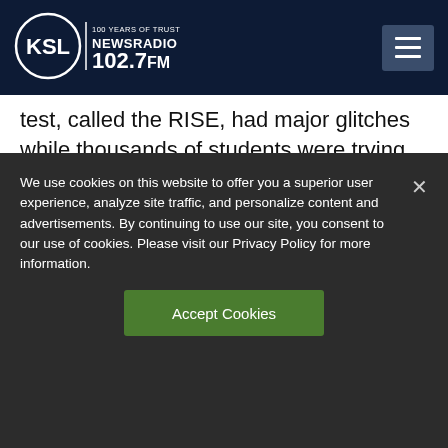[Figure (logo): KSL NewsRadio 102.7 FM logo with circle design and text '100 YEARS OF TRUST']
KSL NewsRadio 102.7 FM
test, called the RISE, had major glitches while thousands of students were trying to take it.  Eventually, the testing crashed.
The problems started happening around midday.  Ben Jameson with the Jordan School District — the largest district id
We use cookies on this website to offer you a superior user experience, analyze site traffic, and personalize content and advertisements. By continuing to use our site, you consent to our use of cookies. Please visit our Privacy Policy for more information.